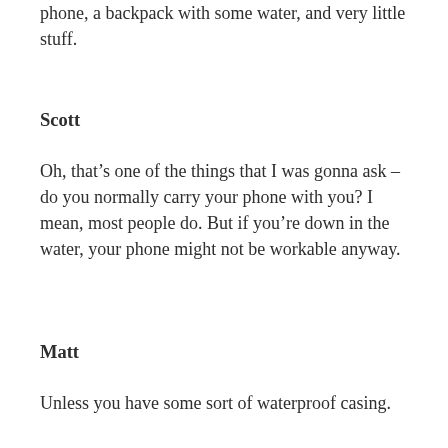phone, a backpack with some water, and very little stuff.
Scott
Oh, that's one of the things that I was gonna ask – do you normally carry your phone with you? I mean, most people do. But if you're down in the water, your phone might not be workable anyway.
Matt
Unless you have some sort of waterproof casing.